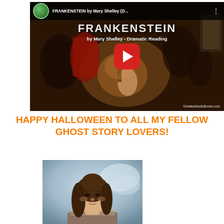[Figure (screenshot): YouTube video thumbnail for FRANKENSTEIN by Mary Shelley - Dramatic Reading, showing a dark painting with people gathered around a light source, with the YouTube play button overlay and GreatestAudioBooks.com watermark]
HAPPY HALLOWEEN TO ALL MY FELLOW GHOST STORY LOVERS!
[Figure (photo): Portrait painting of Mary Shelley, showing a woman with long brown hair against a light blue/grey background]